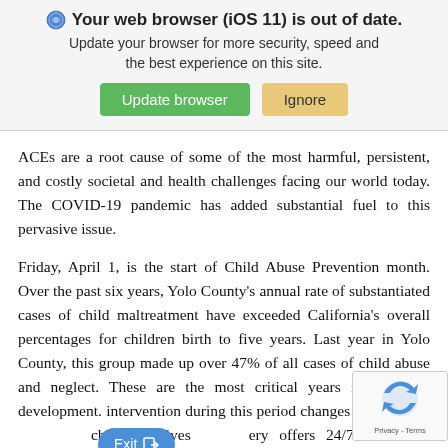[Figure (screenshot): Browser update notification banner with shield icon, bold text 'Your web browser (iOS 11) is out of date.', subtitle 'Update your browser for more security, speed and the best experience on this site.', a green 'Update browser' button, and a tan 'Ignore' button.]
ACEs are a root cause of some of the most harmful, persistent, and costly societal and health challenges facing our world today. The COVID-19 pandemic has added substantial fuel to this pervasive issue.
Friday, April 1, is the start of Child Abuse Prevention month. Over the past six years, Yolo County's annual rate of substantiated cases of child maltreatment have exceeded California's overall percentages for children birth to five years. Last year in Yolo County, this group made up over 47% of all cases of child abuse and neglect. These are the most critical years in a child's development. intervention during this period changes the course of children's lives ery offers 24/7 trauma-info community and a series for families W...